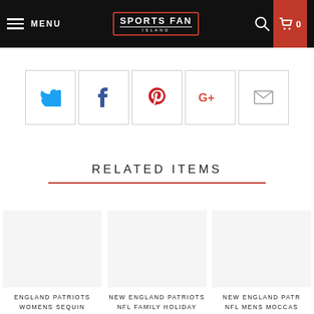MENU | SPORTS FAN ISLAND | 0
[Figure (screenshot): Social share buttons: Twitter, Facebook, Pinterest, Google+, Email]
RELATED ITEMS
ENGLAND PATRIOTS WOMENS SEQUIN FLIP FLOPS
NEW ENGLAND PATRIOTS NFL FAMILY HOLIDAY PAJAMAS
NEW ENGLAND PATR NFL MENS MOCCAS SLIPPERS